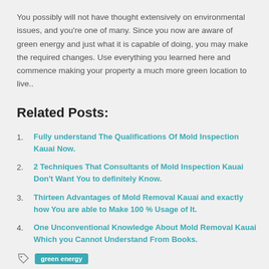You possibly will not have thought extensively on environmental issues, and you're one of many. Since you now are aware of green energy and just what it is capable of doing, you may make the required changes. Use everything you learned here and commence making your property a much more green location to live..
Related Posts:
Fully understand The Qualifications Of Mold Inspection Kauai Now.
2 Techniques That Consultants of Mold Inspection Kauai Don't Want You to definitely Know.
Thirteen Advantages of Mold Removal Kauai and exactly how You are able to Make 100 % Usage of It.
One Unconventional Knowledge About Mold Removal Kauai Which you Cannot Understand From Books.
green energy